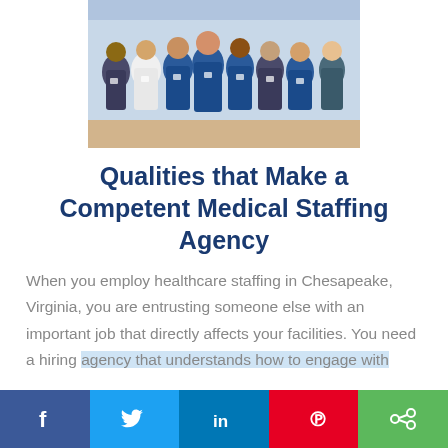[Figure (photo): Group photo of diverse medical professionals wearing scrubs and white coats, standing together outdoors]
Qualities that Make a Competent Medical Staffing Agency
When you employ healthcare staffing in Chesapeake, Virginia, you are entrusting someone else with an important job that directly affects your facilities. You need a hiring agency that understands how to engage with
[Figure (infographic): Social media share bar with Facebook, Twitter, LinkedIn, Pinterest, and Share buttons]